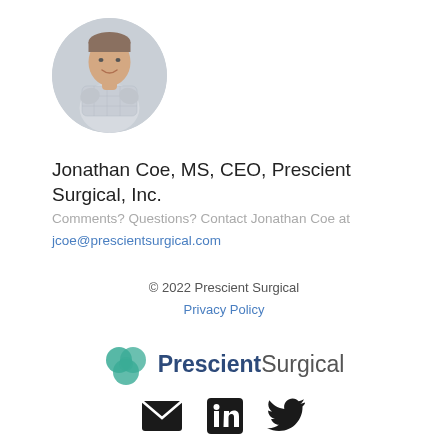[Figure (photo): Circular profile photo of Jonathan Coe, a man with short hair wearing a light plaid shirt, arms crossed, smiling]
Jonathan Coe, MS, CEO, Prescient Surgical, Inc.
Comments? Questions? Contact Jonathan Coe at jcoe@prescientsurgical.com
© 2022 Prescient Surgical
Privacy Policy
[Figure (logo): Prescient Surgical logo: teal overlapping circles icon with text PrescientSurgical]
[Figure (other): Social media icons: email envelope, LinkedIn, Twitter]